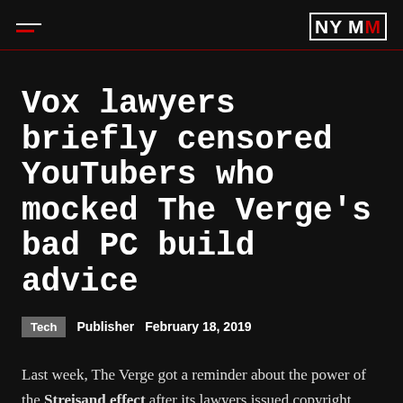NYMM
Vox lawyers briefly censored YouTubers who mocked The Verge's bad PC build advice
Tech  Publisher  February 18, 2019
Last week, The Verge got a reminder about the power of the Streisand effect after its lawyers issued copyright takedown requests for two YouTube videos that criticized—and heavily